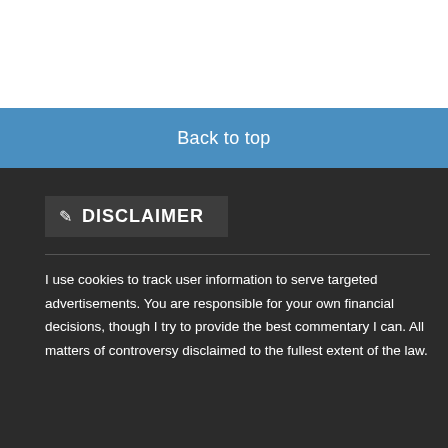Back to top
DISCLAIMER
I use cookies to track user information to serve targeted advertisements. You are responsible for your own financial decisions, though I try to provide the best commentary I can. All matters of controversy disclaimed to the fullest extent of the law.
Copyright © 2022 The Conservative Income Investor.